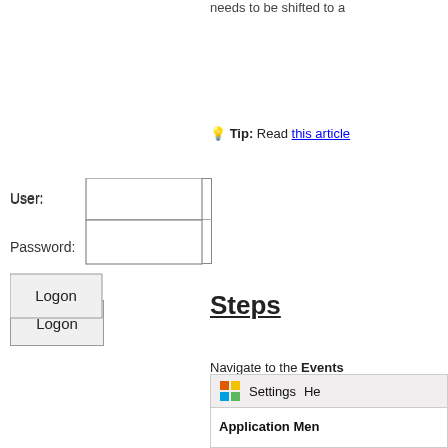needs to be shifted to a...
💡 Tip: Read this article
[Figure (screenshot): Login form with User and Password fields and a Logon button]
Steps
Navigate to the Events
[Figure (screenshot): Application menu bar showing Settings and Help menu items, with Application Menu label below]